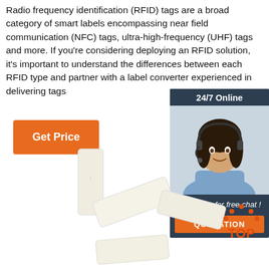Radio frequency identification (RFID) tags are a broad category of smart labels encompassing near field communication (NFC) tags, ultra-high-frequency (UHF) tags and more. If you're considering deploying an RFID solution, it's important to understand the differences between each RFID type and partner with a label converter experienced in delivering tags
[Figure (infographic): Orange 'Get Price' button]
[Figure (infographic): 24/7 online chat widget showing a customer service representative with headset. Header: '24/7 Online'. Footer text: 'Click here for free chat !'. Orange button labeled 'QUOTATION'.]
[Figure (photo): Photo of multiple RFID tags/labels arranged in a scattered pattern on a white background. Small orange 'TOP' badge in the bottom right.]